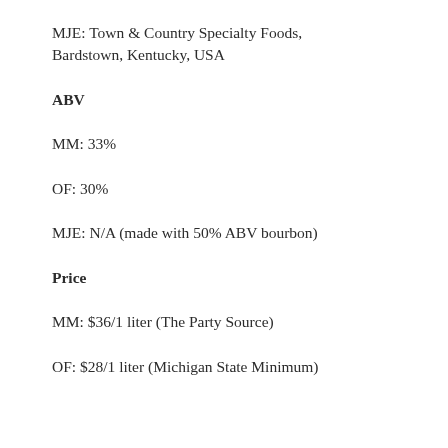MJE: Town & Country Specialty Foods, Bardstown, Kentucky, USA
ABV
MM: 33%
OF: 30%
MJE: N/A (made with 50% ABV bourbon)
Price
MM: $36/1 liter (The Party Source)
OF: $28/1 liter (Michigan State Minimum)